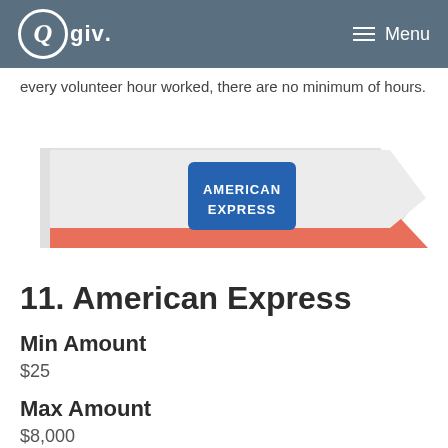Qgiv. Menu
every volunteer hour worked, there are no minimum of hours.
[Figure (logo): American Express logo on a layered card graphic with gray and salmon/coral colored panels]
11. American Express
Min Amount
$25
Max Amount
$8,000